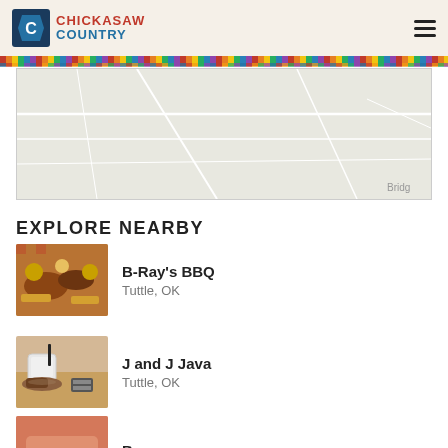Chickasaw Country
[Figure (map): Greyscale map background showing road network, partially visible with 'Bridg' text in lower right corner]
EXPLORE NEARBY
B-Ray's BBQ — Tuttle, OK
J and J Java — Tuttle, OK
Partially visible third listing — Tuttle area